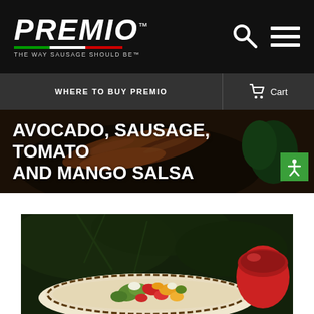PREMIO — THE WAY SAUSAGE SHOULD BE™
WHERE TO BUY PREMIO
Cart
AVOCADO, SAUSAGE, TOMATO AND MANGO SALSA
[Figure (photo): Photo of a decorative plate with colorful avocado, sausage, tomato and mango salsa, with a red bowl in the background and green herbs.]